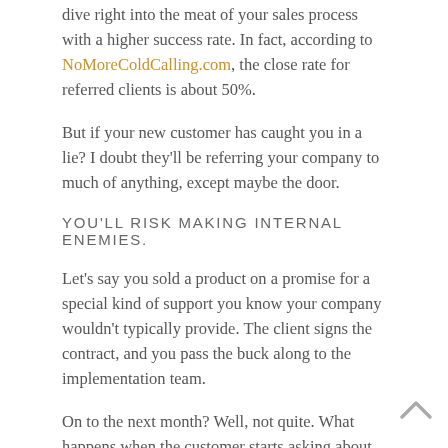dive right into the meat of your sales process with a higher success rate. In fact, according to NoMoreColdCalling.com, the close rate for referred clients is about 50%.
But if your new customer has caught you in a lie? I doubt they'll be referring your company to much of anything, except maybe the door.
YOU'LL RISK MAKING INTERNAL ENEMIES.
Let's say you sold a product on a promise for a special kind of support you know your company wouldn't typically provide. The client signs the contract, and you pass the buck along to the implementation team.
On to the next month? Well, not quite. What happens when the customer starts asking about the support you pledged? You committed another